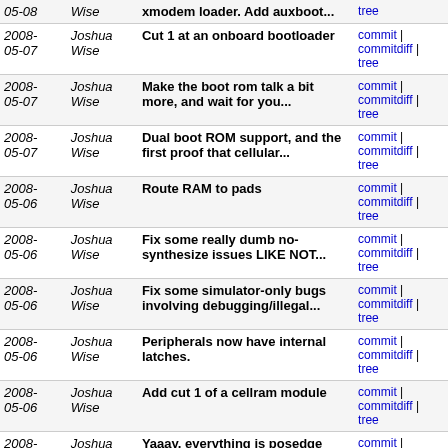| Date | Author | Message | Links |
| --- | --- | --- | --- |
| 2008-05-08 | Joshua Wise | xmodem loader. Add auxboot... | commit | commitdiff | tree |
| 2008-05-07 | Joshua Wise | Cut 1 at an onboard bootloader | commit | commitdiff | tree |
| 2008-05-07 | Joshua Wise | Make the boot rom talk a bit more, and wait for you... | commit | commitdiff | tree |
| 2008-05-07 | Joshua Wise | Dual boot ROM support, and the first proof that cellular... | commit | commitdiff | tree |
| 2008-05-06 | Joshua Wise | Route RAM to pads | commit | commitdiff | tree |
| 2008-05-06 | Joshua Wise | Fix some really dumb no-synthesize issues LIKE NOT... | commit | commitdiff | tree |
| 2008-05-06 | Joshua Wise | Fix some simulator-only bugs involving debugging/illegal... | commit | commitdiff | tree |
| 2008-05-06 | Joshua Wise | Peripherals now have internal latches. | commit | commitdiff | tree |
| 2008-05-06 | Joshua Wise | Add cut 1 of a cellram module | commit | commitdiff | tree |
| 2008-05-04 | Joshua Wise | Yaaay, everything is posedge now | commit | commitdiff | tree |
| 2008-05-04 | Joshua Wise | Flop the clock polarity of the LCDC around. | commit | commitdiff | tree |
| 2008-05-04 | Joshua Wise | Start changing things to happen on posedge clock. | commit | commitdiff | tree |
| 2008-05-04 | Joshua Wise | Set up the bus a little before the clock. | commit | commitdiff | tree |
| 2008-05-04 | Joshua Wise | Add a dirty hack to make the sim pipe directly to the | commit | commitdiff | tree |